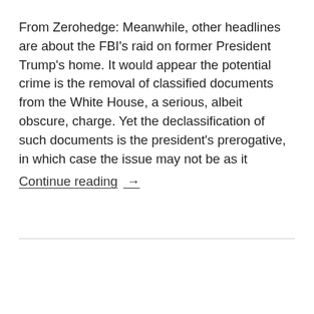From Zerohedge: Meanwhile, other headlines are about the FBI's raid on former President Trump's home. It would appear the potential crime is the removal of classified documents from the White House, a serious, albeit obscure, charge. Yet the declassification of such documents is the president's prerogative, in which case the issue may not be as it
Continue reading →